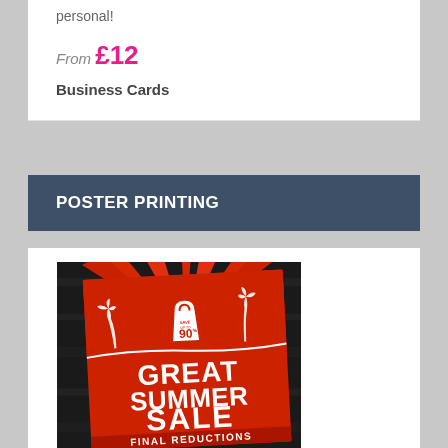personal!
From £12
Business Cards
POSTER PRINTING
[Figure (photo): A promotional poster showing a summer sale advertisement with 'GREAT SUMMER SALE FINAL REDUCTIONS SAVE UP TO 90%' text on a red background with sunburst design, palm trees, and a shopping bag icon. The poster is displayed against a dark wooden surface.]